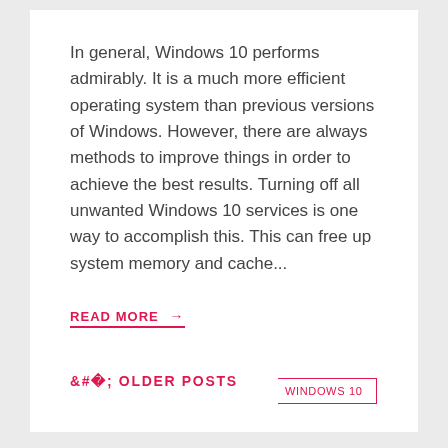In general, Windows 10 performs admirably. It is a much more efficient operating system than previous versions of Windows. However, there are always methods to improve things in order to achieve the best results. Turning off all unwanted Windows 10 services is one way to accomplish this. This can free up system memory and cache...
READ MORE →
SERVICE  SOFTWARE  WINDOWS 10
‹ OLDER POSTS